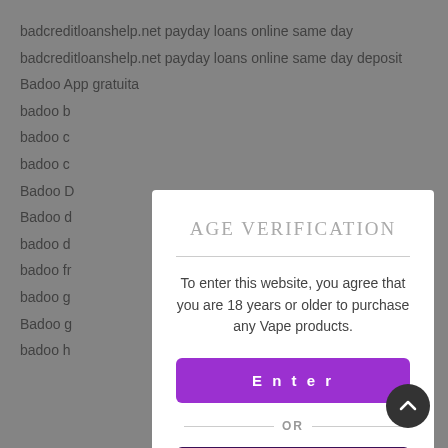badcreditloanshelp.net payday loans online same day
badcreditloanshelp.net payday loans online same day deposit
Badoo App gratuita
badoo b
badoo c
badoo c
Badoo D
Badoo d
badoo d
badoo fr
badoo g
Badoo g
badoo h
[Figure (screenshot): Age verification modal overlay with purple Enter button and dark Exit button, displayed over a greyed-out background list.]